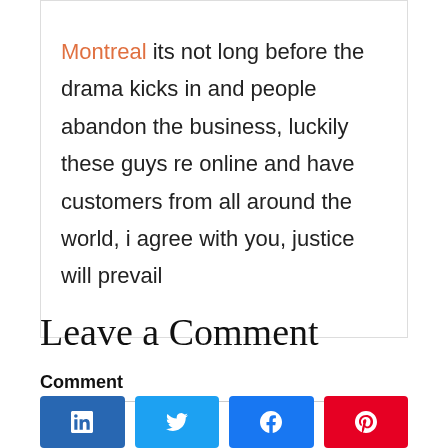Montreal its not long before the drama kicks in and people abandon the business, luckily these guys re online and have customers from all around the world, i agree with you, justice will prevail
Leave a Comment
Comment
[Figure (other): Row of four social share buttons: LinkedIn (dark blue), Twitter (light blue), Facebook (blue), Pinterest (red)]